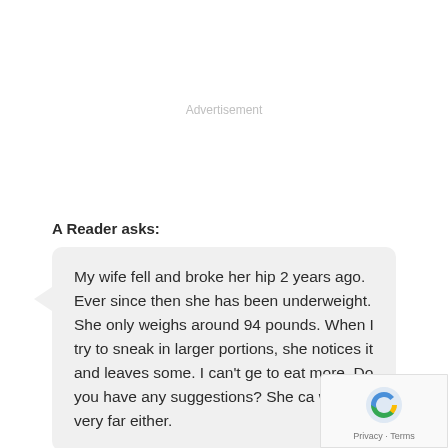Advertisement
A Reader asks:
My wife fell and broke her hip 2 years ago. Ever since then she has been underweight. She only weighs around 94 pounds. When I try to sneak in larger portions, she notices it and leaves some. I can't get to eat more. Do you have any suggestions? She can't walk very far either.